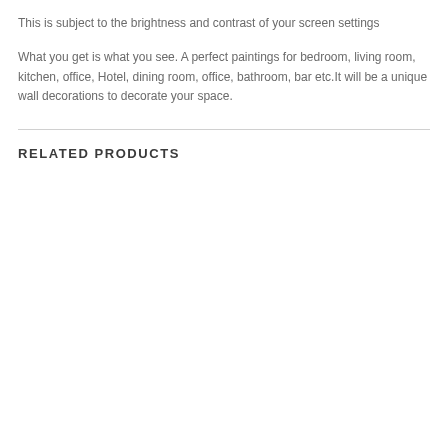This is subject to the brightness and contrast of your screen settings
What you get is what you see. A perfect paintings for bedroom, living room, kitchen, office, Hotel, dining room, office, bathroom, bar etc.It will be a unique wall decorations to decorate your space.
RELATED PRODUCTS